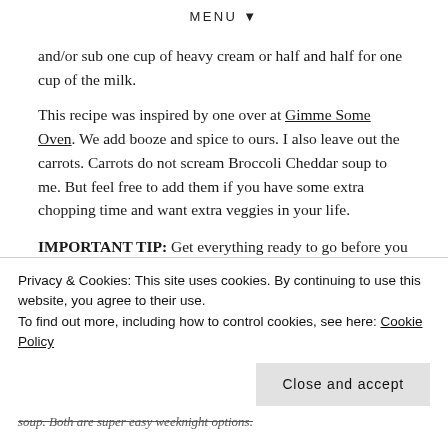MENU ▼
and/or sub one cup of heavy cream or half and half for one cup of the milk.
This recipe was inspired by one over at Gimme Some Oven. We add booze and spice to ours. I also leave out the carrots. Carrots do not scream Broccoli Cheddar soup to me. But feel free to add them if you have some extra chopping time and want extra veggies in your life.
IMPORTANT TIP: Get everything ready to go before you start cooking. When you get to the step where you add in a
Privacy & Cookies: This site uses cookies. By continuing to use this website, you agree to their use.
To find out more, including how to control cookies, see here: Cookie Policy
soup. Both are super easy weeknight options.